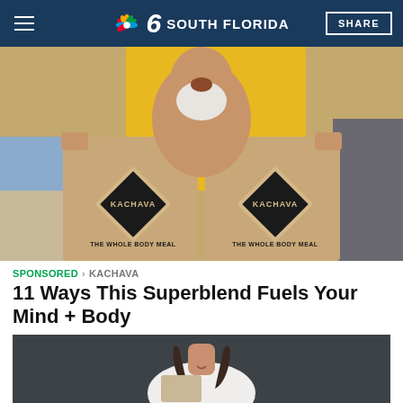NBC 6 South Florida
[Figure (photo): Older man with white beard at a beach holding up two Kachava The Whole Body Meal product bags in front of a yellow surfboard]
SPONSORED · KACHAVA
11 Ways This Superblend Fuels Your Mind + Body
[Figure (photo): Young woman with long dark hair smiling, wearing a white sleeveless top, reaching into a bag against a dark gray wall background]